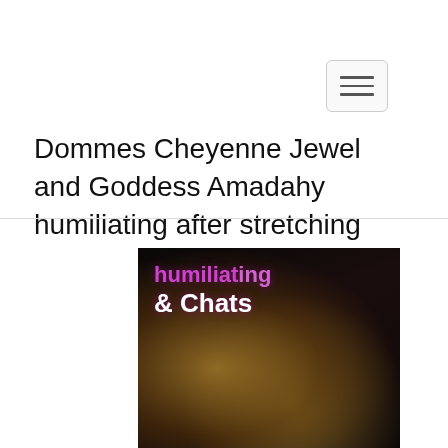Navigation menu button
Dommes Cheyenne Jewel and Goddess Amadahy humiliating after stretching
[Figure (photo): Two overlapping promotional images: top image shows a figure with gold-leaf body paint on a dark background with text 'humiliating & Chats' in purple and white; bottom image shows a woman's face in neon pink/blue lighting with 'sinparty' text in white.]